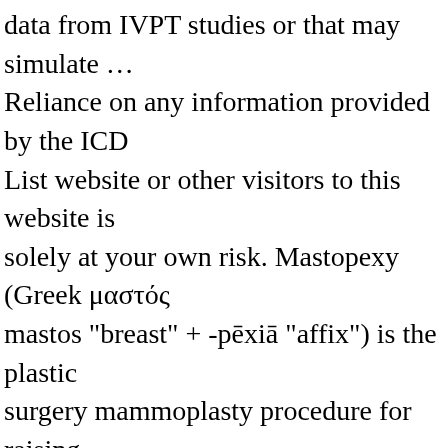data from IVPT studies or that may simulate … Reliance on any information provided by the ICD List website or other visitors to this website is solely at your own risk. Mastopexy (Greek μαστός mastos "breast" + -pēxiā "affix") is the plastic surgery mammoplasty procedure for raising sagging breasts upon the chest of the woman, by changing and modifying the size, contour, and elevation of the breasts. >> “With the exception of Epiduo (which is prescription treatment specifically formulated to co-exist with retinol),